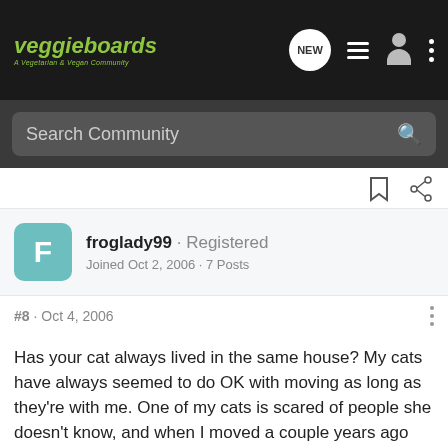veggieboards - A Vegetarian & Vegan Community
Search Community
froglady99 · Registered
Joined Oct 2, 2006 · 7 Posts
#8 · Oct 4, 2006
Has your cat always lived in the same house? My cats have always seemed to do OK with moving as long as they're with me. One of my cats is scared of people she doesn't know, and when I moved a couple years ago she hid under chairs and the bed for the first week, but after that she was fine.
Also, wh... gone, but she... 're
[Figure (screenshot): MEN'S WEARHOUSE ad with New Lower Prices, showing a man in a suit, price $79.99, with X and play button icons]